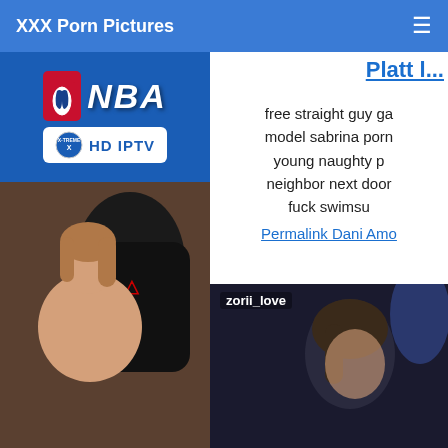XXX Porn Pictures
[Figure (screenshot): NBA logo and HD IPTV badge on blue background]
[Figure (photo): Young woman sitting in gaming chair, nude, tongue out]
free straight guy ga... model sabrina porn... young naughty p... neighbor next door... fuck swimsu...
Permalink Dani Amo...
[Figure (photo): zorii_love - photo of person with dark hair]